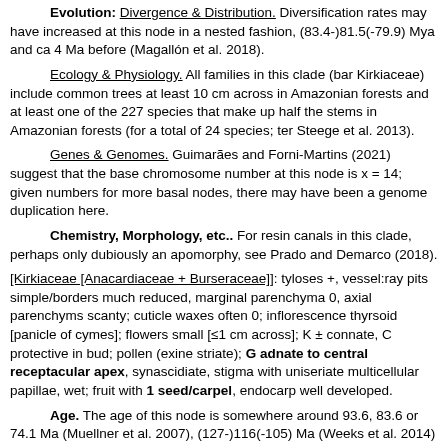Evolution: Divergence & Distribution. Diversification rates may have increased at this node in a nested fashion, (83.4-)81.5(-79.9) Mya and ca 4 Ma before (Magallón et al. 2018).
Ecology & Physiology. All families in this clade (bar Kirkiaceae) include common trees at least 10 cm across in Amazonian forests and at least one of the 227 species that make up half the stems in Amazonian forests (for a total of 24 species; ter Steege et al. 2013).
Genes & Genomes. Guimarães and Forni-Martins (2021) suggest that the base chromosome number at this node is x = 14; given numbers for more basal nodes, there may have been a genome duplication here.
Chemistry, Morphology, etc.. For resin canals in this clade, perhaps only dubiously an apomorphy, see Prado and Demarco (2018).
[Kirkiaceae [Anacardiaceae + Burseraceae]]: tyloses +, vessel:ray pits simple/borders much reduced, marginal parenchyma 0, axial parenchyms scanty; cuticle waxes often 0; inflorescence thyrsoid [panicle of cymes]; flowers small [≤1 cm across]; K ± connate, C protective in bud; pollen (exine striate); G adnate to central receptacular apex, synascidiate, stigma with uniseriate multicellular papillae, wet; fruit with 1 seed/carpel, endocarp well developed.
Age. The age of this node is somewhere around 93.6, 83.6 or 74.1 Ma (Muellner et al. 2007), (127-)116(-105) Ma (Weeks et al. 2014) or (102.9-)94.6(-85.6) Ma (Muellner-Riehl et al. 2016).
Chemistry, Morphology, etc.. Syllepsis is uncommon in this clade (Keller 1994). For some general information, see Bachelier and Endress